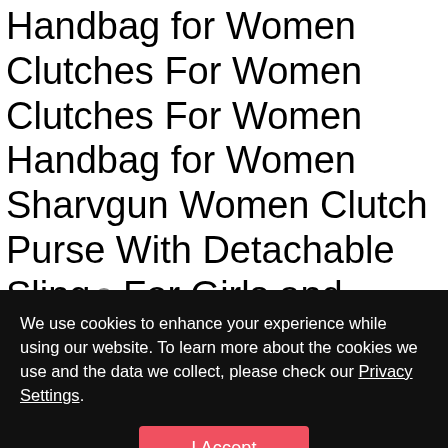Handbag for Women Clutches For Women Clutches For Women Handbag for Women Sharvgun Women Clutch Purse With Detachable Sling For Girls and Womens
We use cookies to enhance your experience while using our website. To learn more about the cookies we use and the data we collect, please check our Privacy Settings. I Accept